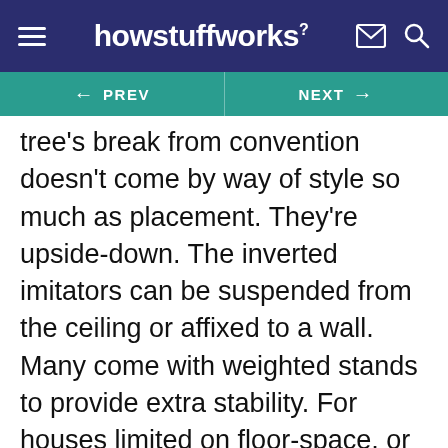howstuffworks
tree's break from convention doesn't come by way of style so much as placement. They're upside-down. The inverted imitators can be suspended from the ceiling or affixed to a wall. Many come with weighted stands to provide extra stability. For houses limited on floor-space, or in need of extra room for a bountiful supply of gifts -- this could be just the thing!
Advertisement